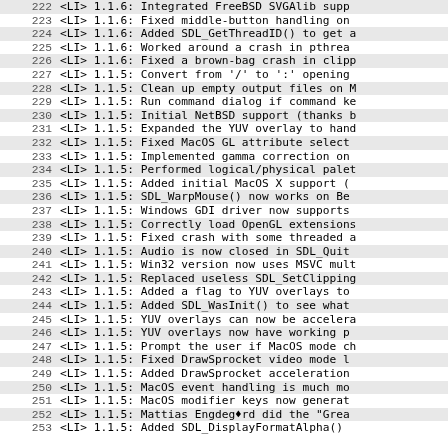222   <LI> 1.1.6: Integrated FreeBSD SVGAlib supp
223   <LI> 1.1.6: Fixed middle-button handling on
224   <LI> 1.1.6: Added SDL_GetThreadID() to get a
225   <LI> 1.1.6: Worked around a crash in pthrea
226   <LI> 1.1.6: Fixed a brown-bag crash in clipp
227   <LI> 1.1.5: Convert from '/' to ':' opening
228   <LI> 1.1.5: Clean up empty output files on M
229   <LI> 1.1.5: Run command dialog if command ke
230   <LI> 1.1.5: Initial NetBSD support (thanks b
231   <LI> 1.1.5: Expanded the YUV overlay to hand
232   <LI> 1.1.5: Fixed MacOS GL attribute select
233   <LI> 1.1.5: Implemented gamma correction on
234   <LI> 1.1.5: Performed logical/physical palet
235   <LI> 1.1.5: Added initial MacOS X support (
236   <LI> 1.1.5: SDL_WarpMouse() now works on Be
237   <LI> 1.1.5: Windows GDI driver now supports
238   <LI> 1.1.5: Correctly load OpenGL extensions
239   <LI> 1.1.5: Fixed crash with some threaded a
240   <LI> 1.1.5: Audio is now closed in SDL_Quit
241   <LI> 1.1.5: Win32 version now uses MSVC mult
242   <LI> 1.1.5: Replaced useless SDL_SetClipping
243   <LI> 1.1.5: Added a flag to YUV overlays to
244   <LI> 1.1.5: Added SDL_WasInit() to see what
245   <LI> 1.1.5: YUV overlays can now be accelera
246   <LI> 1.1.5: YUV overlays now have working p
247   <LI> 1.1.5: Prompt the user if MacOS mode ch
248   <LI> 1.1.5: Fixed DrawSprocket video mode l
249   <LI> 1.1.5: Added DrawSprocket acceleration
250   <LI> 1.1.5: MacOS event handling is much mo
251   <LI> 1.1.5: MacOS modifier keys now generat
252   <LI> 1.1.5: Mattias Engdeg◆rd did the "Grea
253   <LI> 1.1.5: Added SDL_DisplayFormatAlpha()